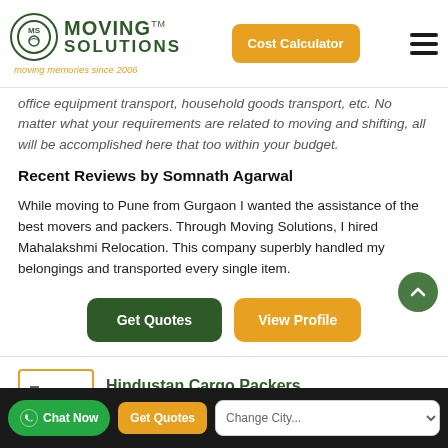Moving Solutions TM — moving memories since 2006 | Cost Calculator button | Hamburger menu
office equipment transport, household goods transport, etc. No matter what your requirements are related to moving and shifting, all will be accomplished here that too within your budget.
Recent Reviews by Somnath Agarwal
While moving to Pune from Gurgaon I wanted the assistance of the best movers and packers. Through Moving Solutions, I hired Mahalakshmi Relocation. This company superbly handled my belongings and transported every single item.
[Figure (other): Get Quotes button (dark green) and View Profile button (orange)]
[Figure (other): Scroll to top circular green button with upward chevron arrow]
Hindustan Cargo Packers
[Figure (other): Cargo/moving truck icon inside an orange-bordered box]
Chat Now | Get Quotes | Change City...